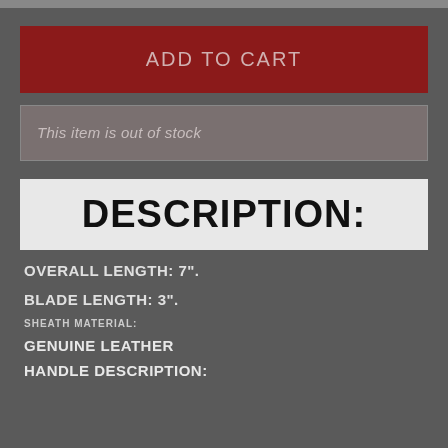ADD TO CART
This item is out of stock
DESCRIPTION:
OVERALL LENGTH: 7".
BLADE LENGTH: 3".
SHEATH MATERIAL:
GENUINE LEATHER
HANDLE DESCRIPTION: